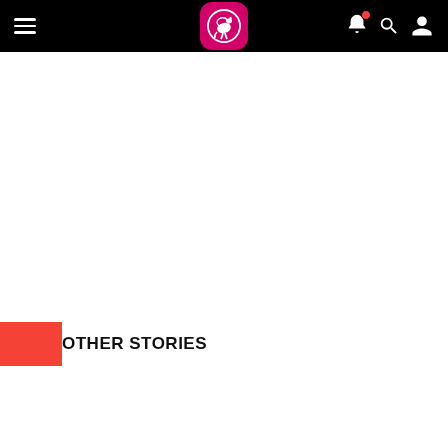[Figure (screenshot): Mobile app navigation bar with hamburger menu on left, Qantas/airline logo (pink rounded square with kangaroo and wing icon) in center, and bell (with red notification dot), search, and user profile icons on right, all on black background]
OTHER STORIES